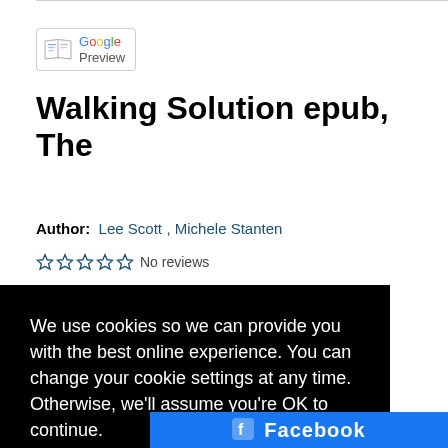[Figure (logo): Google Preview button with book icon and Google logo text]
Walking Solution epub, The
Author: Lee Scott , Michele Stanten
No reviews (with 5 empty stars)
We use cookies so we can provide you with the best online experience. You can change your cookie settings at any time. Otherwise, we'll assume you're OK to continue.
Learn more
Got it!
Facebook